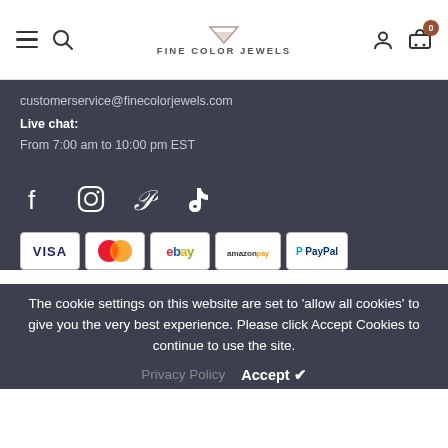Fine Color Jewels website header with hamburger menu, search icon, logo, user icon, and cart with 0 items
customerservice@finecolorjewels.com
Live chat:
From 7:00 am to 10:00 pm EST
[Figure (other): Social media icons: Facebook, Instagram, Pinterest, TikTok]
[Figure (other): Payment method badges: VISA, Mastercard, eBay, Amazon Pay, PayPal]
The cookie settings on this website are set to 'allow all cookies' to give you the very best experience. Please click Accept Cookies to continue to use the site.
Privacy Policy  Accept ✔